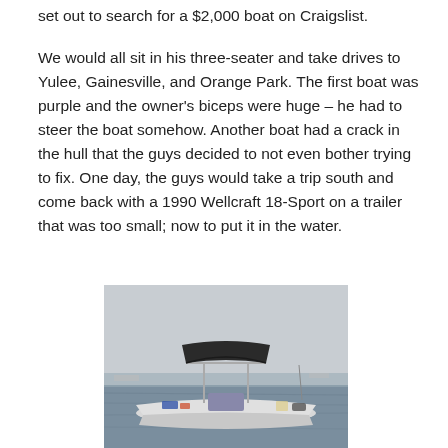set out to search for a $2,000 boat on Craigslist.
We would all sit in his three-seater and take drives to Yulee, Gainesville, and Orange Park. The first boat was purple and the owner's biceps were huge – he had to steer the boat somehow. Another boat had a crack in the hull that the guys decided to not even bother trying to fix. One day, the guys would take a trip south and come back with a 1990 Wellcraft 18-Sport on a trailer that was too small; now to put it in the water.
[Figure (photo): A boat on the water with a dark bimini top and a T-top frame, floating on calm water under an overcast sky, with other boats visible in the background.]